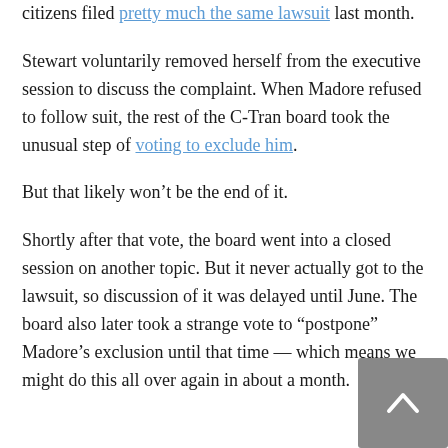citizens filed pretty much the same lawsuit last month.
Stewart voluntarily removed herself from the executive session to discuss the complaint. When Madore refused to follow suit, the rest of the C-Tran board took the unusual step of voting to exclude him.
But that likely won't be the end of it.
Shortly after that vote, the board went into a closed session on another topic. But it never actually got to the lawsuit, so discussion of it was delayed until June. The board also later took a strange vote to “postpone” Madore’s exclusion until that time — which means we might do this all over again in about a month.